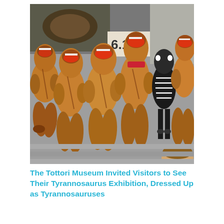[Figure (photo): A group of people dressed in inflatable T-rex dinosaur costumes gathered together, with most costumes being brown/orange colored and one being a black and white skeleton pattern. They are posed in front of what appears to be a museum with a sign showing '6.18'. A child's head is visible at the bottom right.]
The Tottori Museum Invited Visitors to See Their Tyrannosaurus Exhibition, Dressed Up as Tyrannosauruses